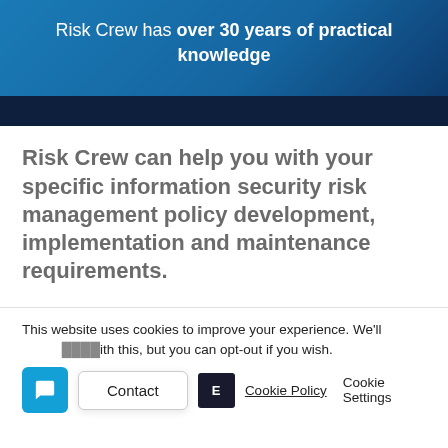Risk Crew has over 30 years of practical knowledge
Risk Crew can help you with your specific information security risk management policy development, implementation and maintenance requirements.
This website uses cookies to improve your experience. We'll assume you're okay with this, but you can opt-out if you wish.
Cookie Policy   Cookie Settings